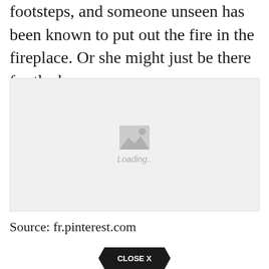footsteps, and someone unseen has been known to put out the fire in the fireplace. Or she might just be there for the burgers.
[Figure (photo): Image placeholder with mountain/photo icon and 'Loading..' text on a light grey background]
Source: fr.pinterest.com
[Figure (other): Close button with 'CLOSE X' text in a dark badge shape]